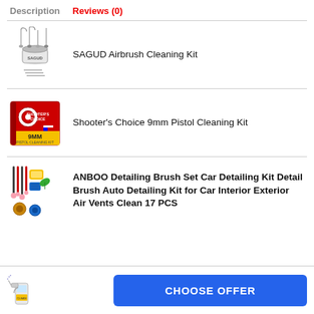Description   Reviews (0)
SAGUD Airbrush Cleaning Kit
Shooter's Choice 9mm Pistol Cleaning Kit
ANBOO Detailing Brush Set Car Detailing Kit Detail Brush Auto Detailing Kit for Car Interior Exterior Air Vents Clean 17 PCS
CHOOSE OFFER